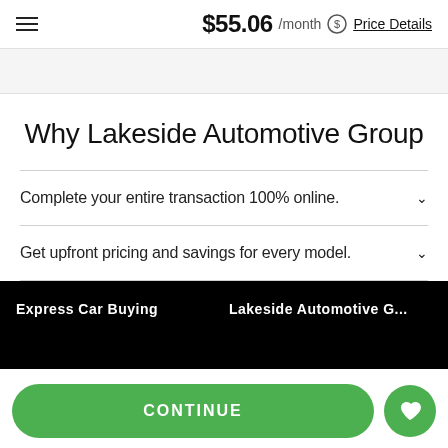$55.06 /month Price Details
Why Lakeside Automotive Group
Complete your entire transaction 100% online.
Get upfront pricing and savings for every model.
Express Car Buying
Lakeside Automotive G...
CONTINUE